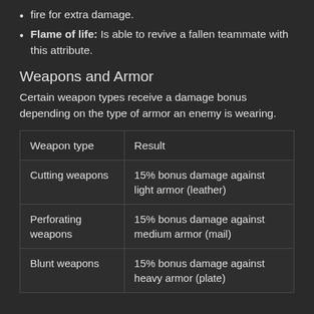fire for extra damage.
Flame of life: Is able to revive a fallen teammate with this attribute.
Weapons and Armor
Certain weapon types receive a damage bonus depending on the type of armor an enemy is wearing.
| Weapon type | Result |
| --- | --- |
| Cutting weapons | 15% bonus damage against light armor (leather) |
| Perforating weapons | 15% bonus damage against medium armor (mail) |
| Blunt weapons | 15% bonus damage against heavy armor (plate) |